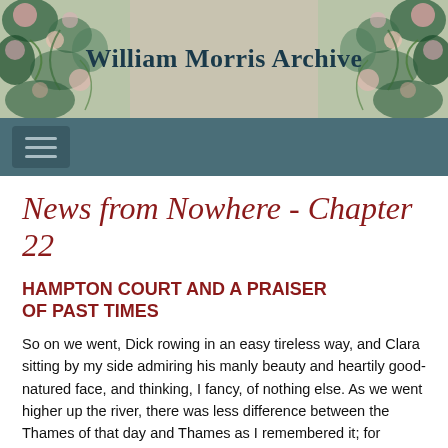William Morris Archive
News from Nowhere - Chapter 22
HAMPTON COURT AND A PRAISER OF PAST TIMES
So on we went, Dick rowing in an easy tireless way, and Clara sitting by my side admiring his manly beauty and heartily good-natured face, and thinking, I fancy, of nothing else. As we went higher up the river, there was less difference between the Thames of that day and Thames as I remembered it; for setting aside the hideous vulgarity of the cockney villas of the well-to-do, stockbrokers and other such, which in older